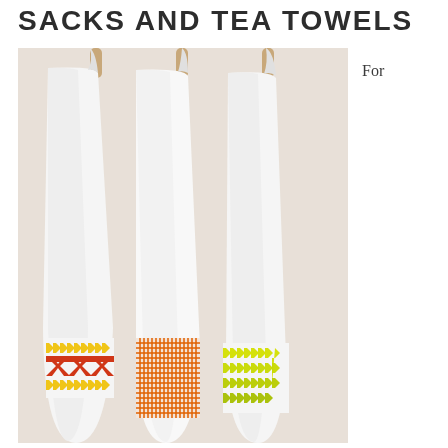SACKS AND TEA TOWELS
[Figure (photo): Three white tea towels hanging on wooden pegs against a light beige wall. Each towel has a decorative woven stripe pattern near the bottom: the left towel has yellow chevrons and red cross pattern, the middle has orange grid/stripe pattern, and the right has yellow-green chevron pattern.]
For